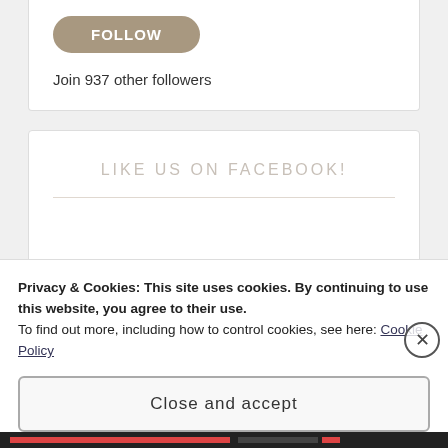[Figure (screenshot): Follow button — pill-shaped button with text FOLLOW in white on a tan/taupe background]
Join 937 other followers
LIKE US ON FACEBOOK!
Privacy & Cookies: This site uses cookies. By continuing to use this website, you agree to their use.
To find out more, including how to control cookies, see here: Cookie Policy
Close and accept